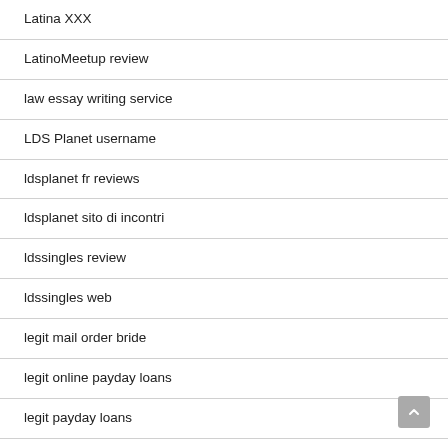Latina XXX
LatinoMeetup review
law essay writing service
LDS Planet username
ldsplanet fr reviews
ldsplanet sito di incontri
ldssingles review
ldssingles web
legit mail order bride
legit online payday loans
legit payday loans
legit title loans